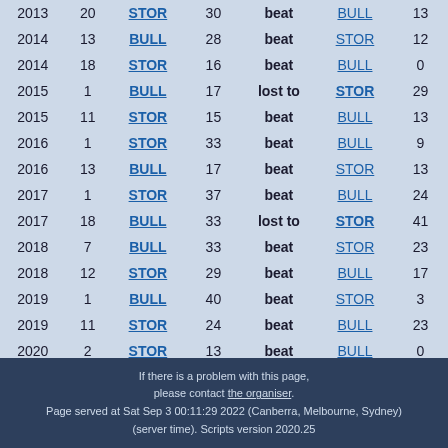| Year | Rd | Team | Score | Result | Opponent | Opp Score |
| --- | --- | --- | --- | --- | --- | --- |
| 2013 | 20 | STOR | 30 | beat | BULL | 13 |
| 2014 | 13 | BULL | 28 | beat | STOR | 12 |
| 2014 | 18 | STOR | 16 | beat | BULL | 0 |
| 2015 | 1 | BULL | 17 | lost to | STOR | 29 |
| 2015 | 11 | STOR | 15 | beat | BULL | 13 |
| 2016 | 1 | STOR | 33 | beat | BULL | 9 |
| 2016 | 13 | BULL | 17 | beat | STOR | 13 |
| 2017 | 1 | STOR | 37 | beat | BULL | 24 |
| 2017 | 18 | BULL | 33 | lost to | STOR | 41 |
| 2018 | 7 | BULL | 33 | beat | STOR | 23 |
| 2018 | 12 | STOR | 29 | beat | BULL | 17 |
| 2019 | 1 | BULL | 40 | beat | STOR | 3 |
| 2019 | 11 | STOR | 24 | beat | BULL | 23 |
| 2020 | 2 | STOR | 13 | beat | BULL | 0 |
| 2020 | 18 | BULL |  | v | STOR |  |
If there is a problem with this page, please contact the organiser. Page served at Sat Sep 3 00:11:29 2022 (Canberra, Melbourne, Sydney) (server time). Scripts version 2020.25